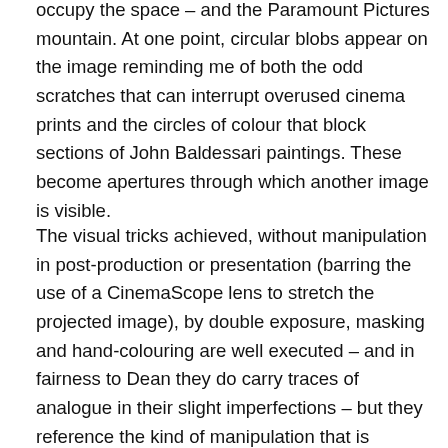occupy the space – and the Paramount Pictures mountain. At one point, circular blobs appear on the image reminding me of both the odd scratches that can interrupt overused cinema prints and the circles of colour that block sections of John Baldessari paintings. These become apertures through which another image is visible.
The visual tricks achieved, without manipulation in post-production or presentation (barring the use of a CinemaScope lens to stretch the projected image), by double exposure, masking and hand-colouring are well executed – and in fairness to Dean they do carry traces of analogue in their slight imperfections – but they reference the kind of manipulation that is commonplace in the age of digital. The piece is projected from a booth that denies us the chance to see the projector or hear it whirr; the ambient sound of film is lost. In interviews to mark the